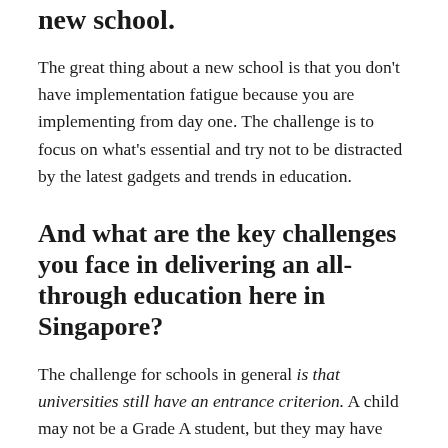new school.
The great thing about a new school is that you don't have implementation fatigue because you are implementing from day one. The challenge is to focus on what's essential and try not to be distracted by the latest gadgets and trends in education.
And what are the key challenges you face in delivering an all-through education here in Singapore?
The challenge for schools in general is that universities still have an entrance criterion. A child may not be a Grade A student, but they may have contributed to society through community work, they may have a way of analysing a problem, or display critical thinking – and none of these can be measured in a test. We need to move away from the mentality of standardising education and towards individualising